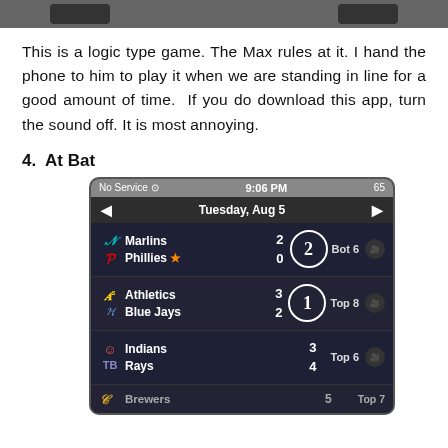[Figure (screenshot): Top of a phone/device screenshot showing two rounded rectangle buttons on a dark gray bar]
This is a logic type game. The Max rules at it. I hand the phone to him to play it when we are standing in line for a good amount of time. If you do download this app, turn the sound off. It is most annoying.
4.  At Bat
[Figure (screenshot): iPhone screenshot of the At Bat app showing MLB baseball scores. Status bar shows No Service, 9:06 PM, 65. Date header shows Tuesday, Aug 5. Games: Marlins 2 vs Phillies 0, Bot 6 (2nd base); Athletics 3 vs Blue Jays 2, Top 8 (1st base); Indians 3 vs Rays 4, Top 6; Brewers 5 vs [team], Top 7 (partial).]